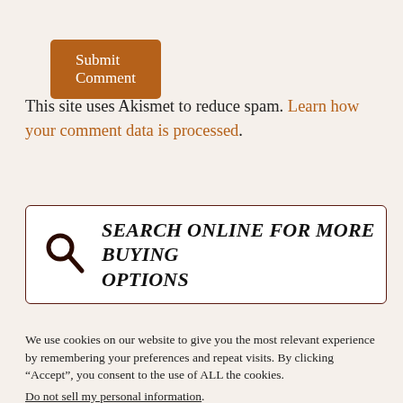Submit Comment
This site uses Akismet to reduce spam. Learn how your comment data is processed.
SEARCH ONLINE FOR MORE BUYING OPTIONS
We use cookies on our website to give you the most relevant experience by remembering your preferences and repeat visits. By clicking “Accept”, you consent to the use of ALL the cookies.
Do not sell my personal information.
Cookie Settings
Accept